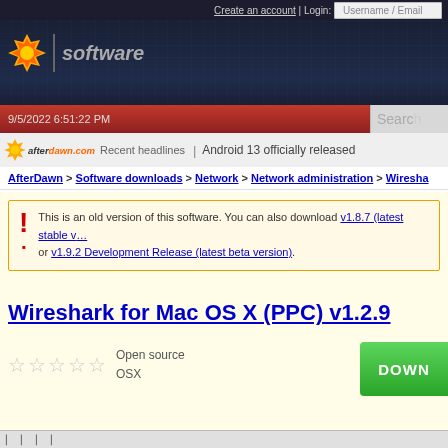Create an account | Login: Username / Email
[Figure (logo): AfterDawn software logo with sun icon and 'software' text on dark navy background]
9/5/2022 6:51:22 PM
Search
afterdawn.com Recent headlines | Android 13 officially released
AfterDawn > Software downloads > Network > Network administration > Wiresha...
This is an old version of this software. You can also download v1.8.7 (latest stable version) or v1.9.2 Development Release (latest beta version).
Wireshark for Mac OS X (PPC) v1.2.9
Open source
OSX
DOWNLOAD